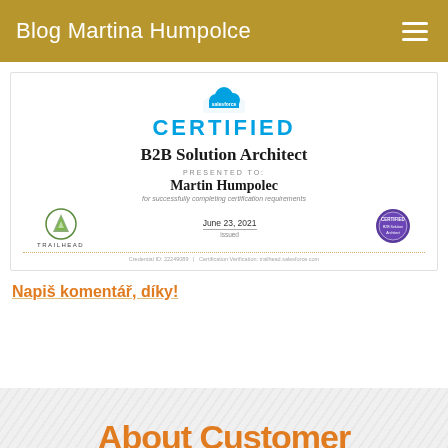Blog Martina Humpolce
[Figure (screenshot): Salesforce Certified B2B Solution Architect certificate presented to Martin Humpolec, issued June 23, 2021. Shows Salesforce cloud logo, CERTIFIED text in blue, role title, recipient name, Trailhead logo, date, and a certified badge seal.]
Napiš komentář, díky!
About Customer